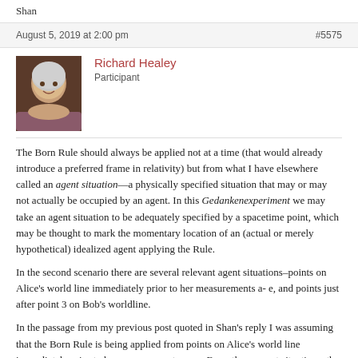Shan
August 5, 2019 at 2:00 pm   #5575
Richard Healey
Participant
The Born Rule should always be applied not at a time (that would already introduce a preferred frame in relativity) but from what I have elsewhere called an agent situation—a physically specified situation that may or may not actually be occupied by an agent. In this Gedankenexperiment we may take an agent situation to be adequately specified by a spacetime point, which may be thought to mark the momentary location of an (actual or merely hypothetical) idealized agent applying the Rule.
In the second scenario there are several relevant agent situations–points on Alice's world line immediately prior to her measurements a- e, and points just after point 3 on Bob's worldline.
In the passage from my previous post quoted in Shan's reply I was assuming that the Born Rule is being applied from points on Alice's world line immediately prior to her measurements a – e. From those agent situations, the application correctly issues in the probability assignments I gave in that post: